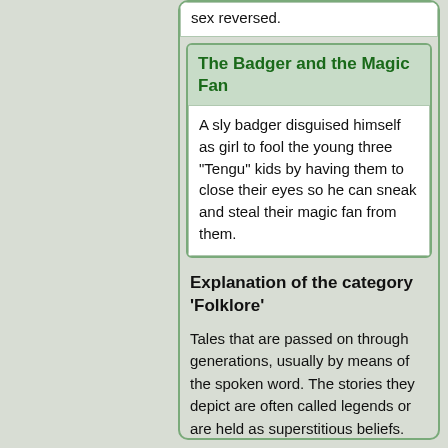sex reversed.
The Badger and the Magic Fan
A sly badger disguised himself as girl to fool the young three "Tengu" kids by having them to close their eyes so he can sneak and steal their magic fan from them.
Explanation of the category 'Folklore'
Tales that are passed on through generations, usually by means of the spoken word. The stories they depict are often called legends or are held as superstitious beliefs.
[Edit this Page]